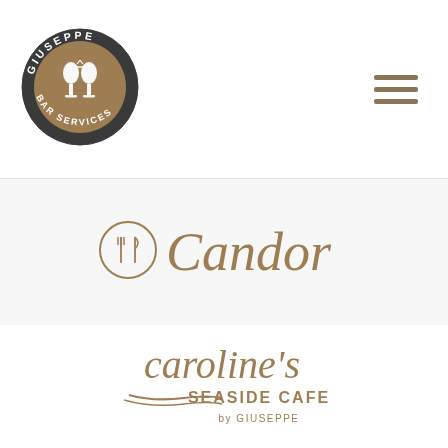[Figure (logo): Giuseppe Bar Services circular logo — dark charcoal circle with gold/brown inner circle, two champagne glasses silhouette in white, text 'GIUSEPPE' at top arc and 'BAR SERVICES' at bottom arc in white]
[Figure (logo): Hamburger menu icon — three horizontal brown/tan bars]
[Figure (logo): Candor logo — circular icon with crossed fork and knife inside, followed by 'Candor' in large brown cursive/script font]
[Figure (logo): Caroline's Seaside Cafe by Giuseppe logo — 'caroline's' in large brown lowercase script, 'SEASIDE CAFE' in smaller brown serif capitals, curved swoosh decoration, 'by GIUSEPPE' in small brown text below]